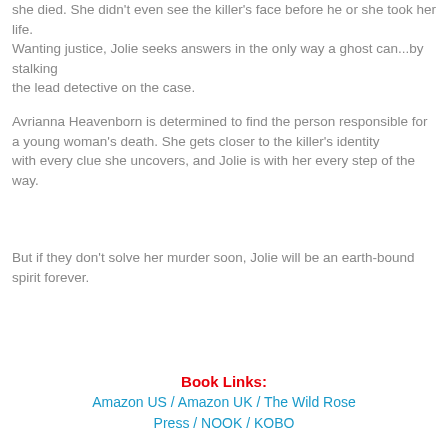she died. She didn't even see the killer's face before he or she took her life.
Wanting justice, Jolie seeks answers in the only way a ghost can...by stalking
the lead detective on the case.
Avrianna Heavenborn is determined to find the person responsible for a young woman's death. She gets closer to the killer's identity
with every clue she uncovers, and Jolie is with her every step of the way.
But if they don't solve her murder soon, Jolie will be an earth-bound spirit forever.
Book Links:
Amazon US / Amazon UK / The Wild Rose Press / NOOK / KOBO